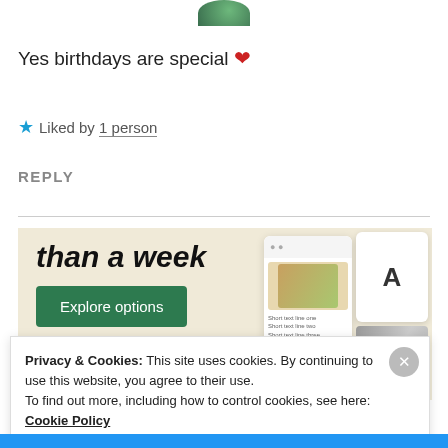[Figure (photo): Partial circular profile photo, green tones, cropped at top]
Yes birthdays are special ❤
★ Liked by 1 person
REPLY
[Figure (screenshot): Advertisement banner with beige background showing 'than a week' text, 'Explore options' green button, and website mockup images of food]
Privacy & Cookies: This site uses cookies. By continuing to use this website, you agree to their use.
To find out more, including how to control cookies, see here: Cookie Policy
Close and accept